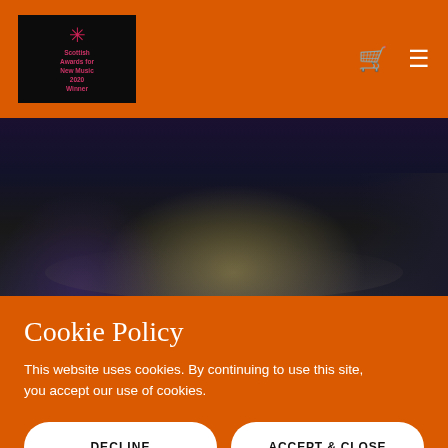Scottish Awards for New Music 2020 Winner
[Figure (photo): Dark stage photo showing feet/floor area with blue and amber lighting effects]
Biography
Born in Inverness in 1976, Stuart MacRae has established
Cookie Policy
This website uses cookies. By continuing to use this site, you accept our use of cookies.
DECLINE | ACCEPT & CLOSE